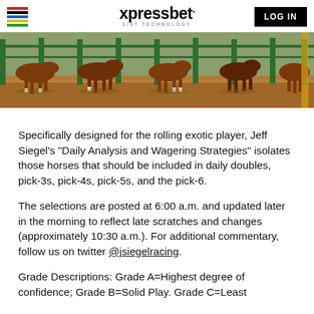xpressbet. 1/ST TECHNOLOGY | LOG IN
[Figure (photo): Horse racing photo showing horses at the starting gate on a dirt track]
Specifically designed for the rolling exotic player, Jeff Siegel's “Daily Analysis and Wagering Strategies” isolates those horses that should be included in daily doubles, pick-3s, pick-4s, pick-5s, and the pick-6.
The selections are posted at 6:00 a.m. and updated later in the morning to reflect late scratches and changes (approximately 10:30 a.m.). For additional commentary, follow us on twitter @jsiegelracing.
Grade Descriptions: Grade A=Highest degree of confidence; Grade B=Solid Play. Grade C=Least